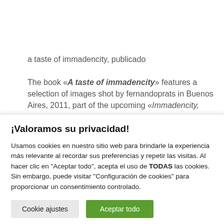a taste of immadencity, publicado
The book «A taste of immadencity» features a selection of images shot by fernandoprats in Buenos Aires, 2011, part of the upcoming «Immadencity,
¡Valoramos su privacidad!
Usamos cookies en nuestro sitio web para brindarle la experiencia más relevante al recordar sus preferencias y repetir las visitas. Al hacer clic en "Aceptar todo", acepta el uso de TODAS las cookies. Sin embargo, puede visitar "Configuración de cookies" para proporcionar un consentimiento controlado.
Cookie ajustes
Aceptar todo